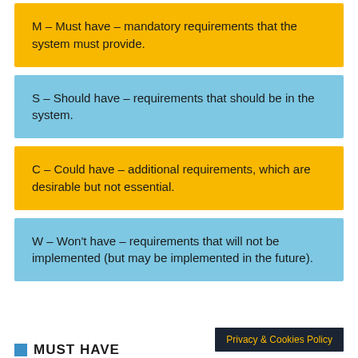M – Must have – mandatory requirements that the system must provide.
S – Should have – requirements that should be in the system.
C – Could have – additional requirements, which are desirable but not essential.
W – Won't have – requirements that will not be implemented (but may be implemented in the future).
MUST HAVE
Privacy & Cookies Policy